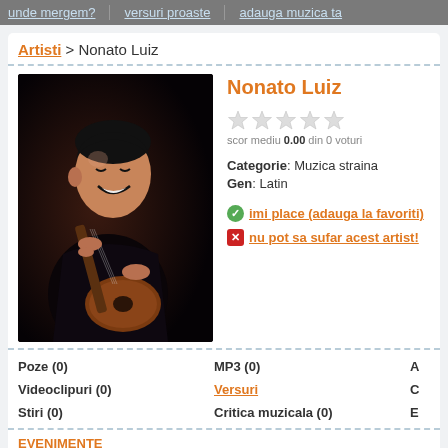unde mergem? | versuri proaste | adauga muzica ta
Artisti > Nonato Luiz
[Figure (photo): Photo of Nonato Luiz playing acoustic guitar, smiling, dark background]
Nonato Luiz
scor mediu 0.00 din 0 voturi
Categorie: Muzica straina
Gen: Latin
imi place (adauga la favoriti)
nu pot sa sufar acest artist!
Poze (0)
Videoclipuri (0)
Stiri (0)
MP3 (0)
Versuri
Critica muzicala (0)
A
C
E
EVENIMENTE
In perioada urmatoare nu este nici un eveniment cu Nonato Luiz.
STIRI